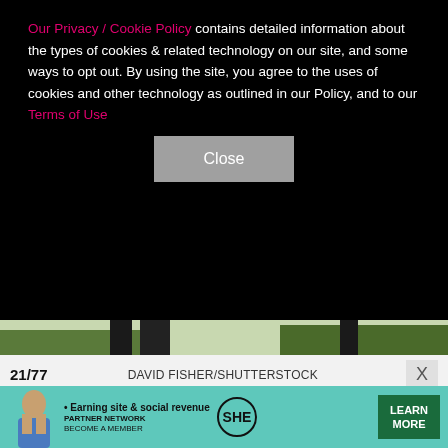Our Privacy / Cookie Policy contains detailed information about the types of cookies & related technology on our site, and some ways to opt out. By using the site, you agree to the uses of cookies and other technology as outlined in our Policy, and to our Terms of Use
[Figure (other): Close button (gray rectangle with 'Close' text) on cookie consent overlay]
[Figure (photo): Close-up photograph showing dark vertical bars or poles against a curb with green grass and blue pavement/ground]
21/77   DAVID FISHER/SHUTTERSTOCK
Hailee Steinfeld attends a screening of "Hawkeye" in
[Figure (infographic): SHE Partner Network advertisement banner: Earning site & social revenue. Become a member. Learn More.]